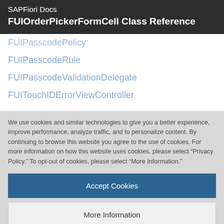SAPFiori Docs
FUIOrderPickerFormCell Class Reference
FUIPasscodePolicy
FUIPasscodeRule
FUIPasscodeValidationDelegate
FUITouchIDErrorViewController
We use cookies and similar technologies to give you a better experience, improve performance, analyze traffic, and to personalize content. By continuing to browse this website you agree to the use of cookies. For more information on how this website uses cookies, please select “Privacy Policy.” To opt-out of cookies, please select “More Information.”
Accept Cookies
More Information
Privacy Policy | Powered by: TrustArc
FUIMovieControllerDelegate